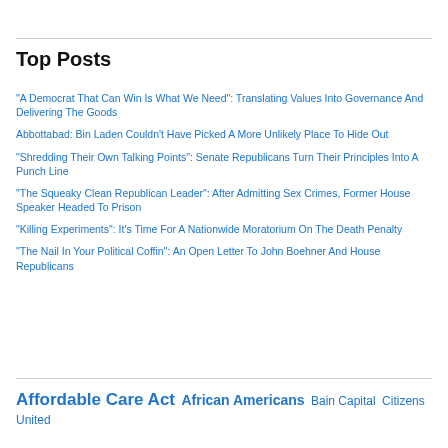Top Posts
"A Democrat That Can Win Is What We Need": Translating Values Into Governance And Delivering The Goods
Abbottabad: Bin Laden Couldn't Have Picked A More Unlikely Place To Hide Out
"Shredding Their Own Talking Points": Senate Republicans Turn Their Principles Into A Punch Line
"The Squeaky Clean Republican Leader": After Admitting Sex Crimes, Former House Speaker Headed To Prison
"Killing Experiments": It's Time For A Nationwide Moratorium On The Death Penalty
"The Nail In Your Political Coffin": An Open Letter To John Boehner And House Republicans
Affordable Care Act  African Americans  Bain Capital  Citizens United